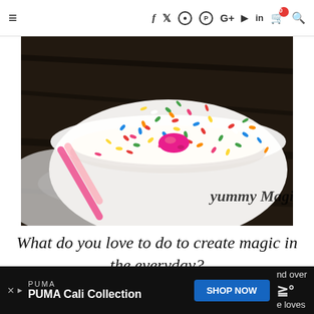≡  f  𝕏  ⊙  ⊕  G+  ▶  in  🛒  🔍
[Figure (photo): Close-up photo of a white bowl filled with vanilla ice cream, colorful rainbow sprinkles (hundreds and thousands), and a pink M&M candy on top. A pink spoon is visible. Text overlay reads 'yummy Magic..' in cursive script.]
What do you love to do to create magic in the everyday?
[Figure (infographic): Advertisement banner for PUMA Cali Collection with 'SHOP NOW' button, on dark background. Partial text visible on right: 'nd over' and 'e loves']